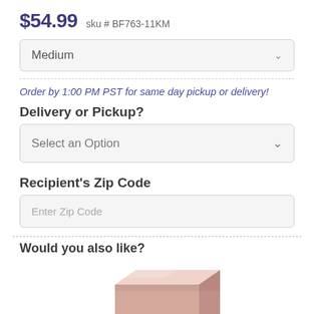$54.99  sku # BF763-11KM
Medium
Order by 1:00 PM PST for same day pickup or delivery!
Delivery or Pickup?
Select an Option
Recipient's Zip Code
Enter Zip Code
Would you also like?
[Figure (photo): A pink/rose gold colored box product photograph, partially visible at bottom of page.]